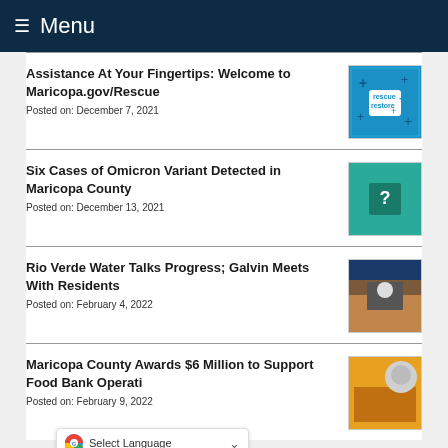Menu
Assistance At Your Fingertips: Welcome to Maricopa.gov/Rescue
Posted on: December 7, 2021
Six Cases of Omicron Variant Detected in Maricopa County
Posted on: December 13, 2021
Rio Verde Water Talks Progress; Galvin Meets With Residents
Posted on: February 4, 2022
Maricopa County Awards $6 Million to Support Food Bank Operati…
Posted on: February 9, 2022
Select Language